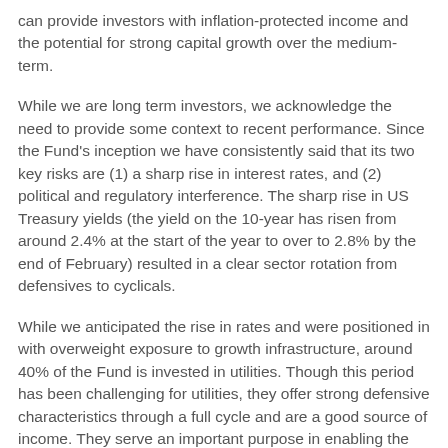can provide investors with inflation-protected income and the potential for strong capital growth over the medium-term.
While we are long term investors, we acknowledge the need to provide some context to recent performance. Since the Fund's inception we have consistently said that its two key risks are (1) a sharp rise in interest rates, and (2) political and regulatory interference. The sharp rise in US Treasury yields (the yield on the 10-year has risen from around 2.4% at the start of the year to over to 2.8% by the end of February) resulted in a clear sector rotation from defensives to cyclicals.
While we anticipated the rise in rates and were positioned in with overweight exposure to growth infrastructure, around 40% of the Fund is invested in utilities. Though this period has been challenging for utilities, they offer strong defensive characteristics through a full cycle and are a good source of income. They serve an important purpose in enabling the Fund to provide a sensibly diversified exposure to the infrastructure opportunity.